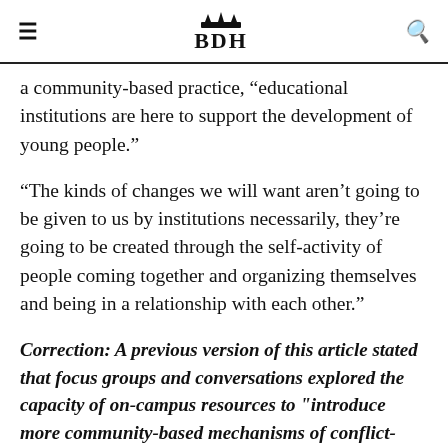BDH
a community-based practice, “educational institutions are here to support the development of young people.”
“The kinds of changes we will want aren’t going to be given to us by institutions necessarily, they’re going to be created through the self-activity of people coming together and organizing themselves and being in a relationship with each other.”
Correction: A previous version of this article stated that focus groups and conversations explored the capacity of on-campus resources to "introduce more community-based mechanisms of conflict-mediation." In fact, they explored the capacity to introduce community-based